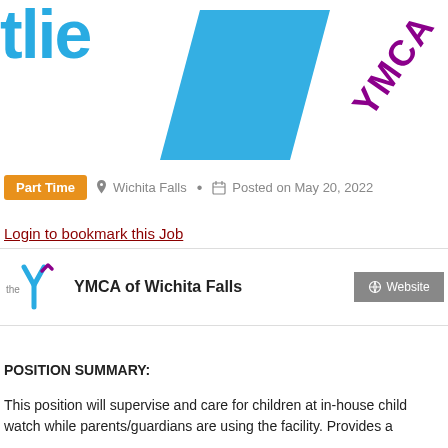[Figure (logo): YMCA logo with blue diagonal parallelogram shape and magenta 'YMCA' text, with partial blue 'the' text on the left]
Part Time  Wichita Falls •  Posted on May 20, 2022
Login to bookmark this Job
YMCA of Wichita Falls   Website
POSITION SUMMARY:
This position will supervise and care for children at in-house child watch while parents/guardians are using the facility.  Provides a